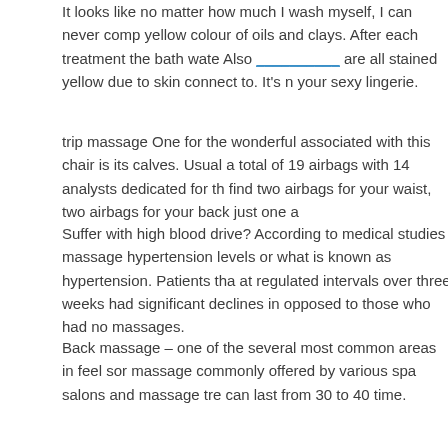It looks like no matter how much I wash myself, I can never comp yellow colour of oils and clays. After each treatment the bath wate Also _________ are all stained yellow due to skin connect to. It's n your sexy lingerie.
trip massage One for the wonderful associated with this chair is its calves. Usual a total of 19 airbags with 14 analysts dedicated for th find two airbags for your waist, two airbags for your back just one a
Suffer with high blood drive? According to medical studies massage hypertension levels or what is known as hypertension. Patients tha at regulated intervals over three weeks had significant declines in opposed to those who had no massages.
Back massage – one of the several most common areas in feel sor massage commonly offered by various spa salons and massage tre can last from 30 to 40 time.
Entertainment showcase – your aging parents will surely appreciat other appliances to entertain these types of. They are already old actually by enjoy countless of their life exhilarating. They could wa